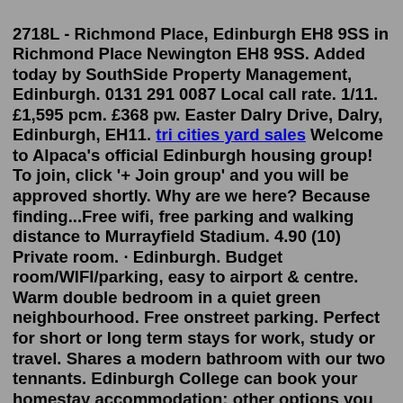2718L - Richmond Place, Edinburgh EH8 9SS in Richmond Place Newington EH8 9SS. Added today by SouthSide Property Management, Edinburgh. 0131 291 0087 Local call rate. 1/11. £1,595 pcm. £368 pw. Easter Dalry Drive, Dalry, Edinburgh, EH11. tri cities yard sales Welcome to Alpaca's official Edinburgh housing group! To join, click '+ Join group' and you will be approved shortly. Why are we here? Because finding...Free wifi, free parking and walking distance to Murrayfield Stadium. 4.90 (10) Private room. · Edinburgh. Budget room/WIFI/parking, easy to airport & centre. Warm double bedroom in a quiet green neighbourhood. Free onstreet parking. Perfect for short or long term stays for work, study or travel. Shares a modern bathroom with our two tennants. Edinburgh College can book your homestay accommodation; other options you must book directly with the provider. Edinburgh is very busy during the summer, especially during August when thousands of tourists and visitors come